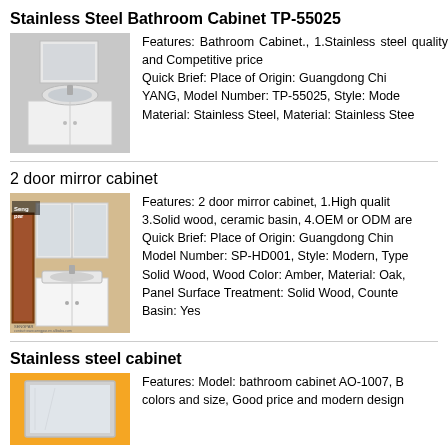Stainless Steel Bathroom Cabinet TP-55025
[Figure (photo): White stainless steel bathroom cabinet with mirror above a sink]
Features: Bathroom Cabinet., 1.Stainless steel quality and Competitive price Quick Brief: Place of Origin: Guangdong China, YANG, Model Number: TP-55025, Style: Modern, Material: Stainless Steel, Material: Stainless Steel
2 door mirror cabinet
[Figure (photo): Bathroom vanity with 2 door mirror cabinet, solid wood, ceramic basin shown in a room setting with Sengpar branding]
Features: 2 door mirror cabinet, 1.High quality, 3.Solid wood, ceramic basin, 4.OEM or ODM are Quick Brief: Place of Origin: Guangdong China, Model Number: SP-HD001, Style: Modern, Type: Solid Wood, Wood Color: Amber, Material: Oak, Panel Surface Treatment: Solid Wood, Counter Basin: Yes
Stainless steel cabinet
[Figure (photo): Stainless steel bathroom cabinet with orange background]
Features: Model: bathroom cabinet AO-1007, B colors and size, Good price and modern design